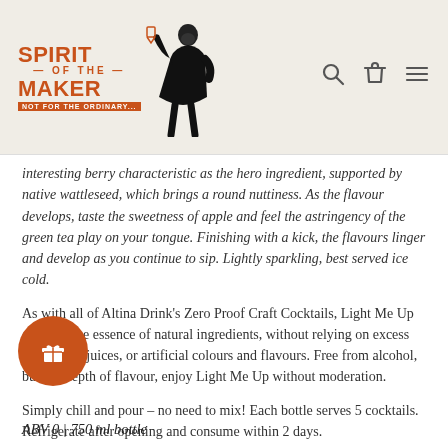[Figure (logo): Spirit of the Maker logo with illustrated figure holding a glass, orange text, tagline 'Not for the ordinary...']
interesting berry characteristic as the hero ingredient, supported by native wattleseed, which brings a round nuttiness. As the flavour develops, taste the sweetness of apple and feel the astringency of the green tea play on your tongue. Finishing with a kick, the flavours linger and develop as you continue to sip. Lightly sparkling, best served ice cold.
As with all of Altina Drink's Zero Proof Craft Cocktails, Light Me Up captures the essence of natural ingredients, without relying on excess sugar, fruit juices, or artificial colours and flavours. Free from alcohol, but not depth of flavour, enjoy Light Me Up without moderation.
Simply chill and pour – no need to mix! Each bottle serves 5 cocktails. Refrigerate after opening and consume within 2 days.
We recommend serving Light Me Up in a flute glass with our dehydrated apple garnishes.
ABV 0 | 750 ml bottle